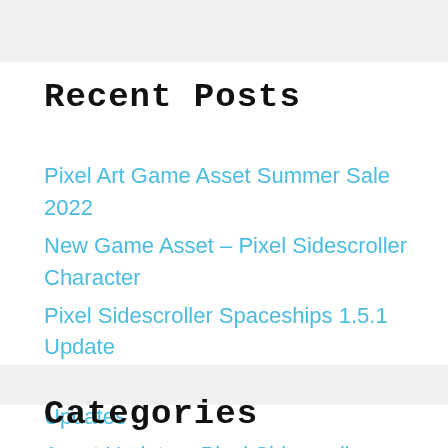Recent Posts
Pixel Art Game Asset Summer Sale 2022
New Game Asset – Pixel Sidescroller Character
Pixel Sidescroller Spaceships 1.5.1 Update
Pixel Enemies, Pixel Ship SHMUP Updates
Asset Update – Pixel Sidescroller Backgrounds City
Categories